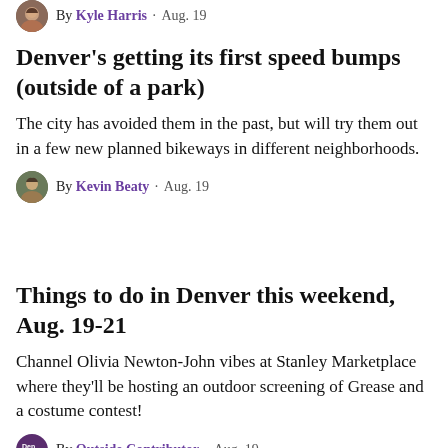By Kyle Harris · Aug. 19
Denver's getting its first speed bumps (outside of a park)
The city has avoided them in the past, but will try them out in a few new planned bikeways in different neighborhoods.
By Kevin Beaty · Aug. 19
Things to do in Denver this weekend, Aug. 19-21
Channel Olivia Newton-John vibes at Stanley Marketplace where they'll be hosting an outdoor screening of Grease and a costume contest!
By Outside Contributor · Aug. 19